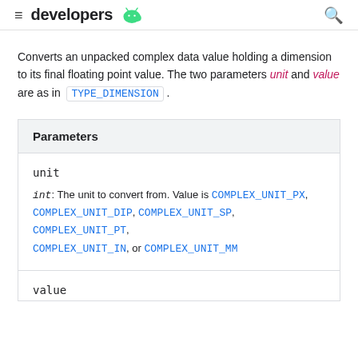developers
Converts an unpacked complex data value holding a dimension to its final floating point value. The two parameters unit and value are as in TYPE_DIMENSION.
| Parameters |
| --- |
| unit | int: The unit to convert from. Value is COMPLEX_UNIT_PX, COMPLEX_UNIT_DIP, COMPLEX_UNIT_SP, COMPLEX_UNIT_PT, COMPLEX_UNIT_IN, or COMPLEX_UNIT_MM |
| value |  |